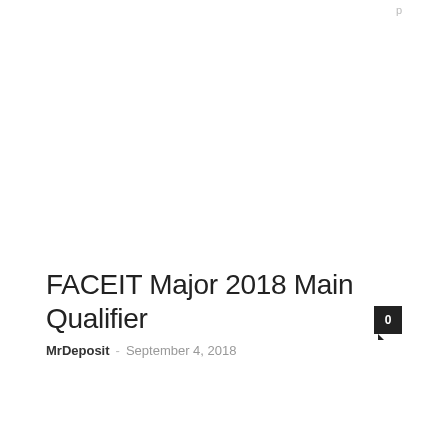p
FACEIT Major 2018 Main Qualifier
MrDeposit  -  September 4, 2018